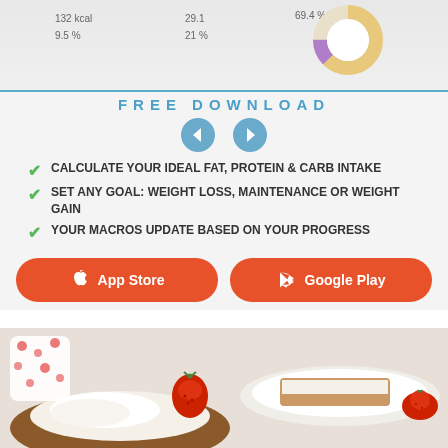[Figure (screenshot): App screenshot showing donut chart with nutrition stats: 132 kcal, 9.5%, 21%, 69.4% with colored donut chart segments]
FREE DOWNLOAD
[Figure (other): Navigation arrows: left arrow and right arrow in blue circles]
CALCULATE YOUR IDEAL FAT, PROTEIN & CARB INTAKE
SET ANY GOAL: WEIGHT LOSS, MAINTENANCE OR WEIGHT GAIN
YOUR MACROS UPDATE BASED ON YOUR PROGRESS
[Figure (other): App Store button (orange/red rounded rectangle with Apple logo)]
[Figure (other): Google Play button (orange/red rounded rectangle with Android logo)]
[Figure (photo): Photo of strawberry desserts — tarts/pastries with whipped cream and fresh strawberries on white plates]